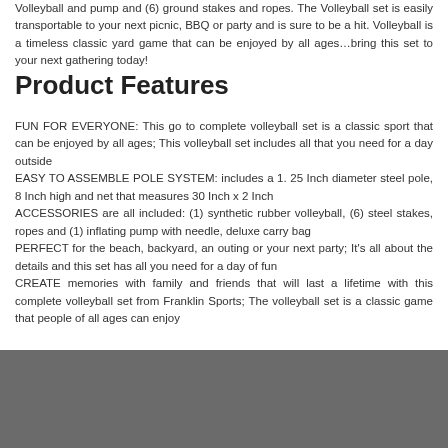Volleyball and pump and (6) ground stakes and ropes. The Volleyball set is easily transportable to your next picnic, BBQ or party and is sure to be a hit. Volleyball is a timeless classic yard game that can be enjoyed by all ages…bring this set to your next gathering today!
Product Features
FUN FOR EVERYONE: This go to complete volleyball set is a classic sport that can be enjoyed by all ages; This volleyball set includes all that you need for a day outside
EASY TO ASSEMBLE POLE SYSTEM: includes a 1. 25 Inch diameter steel pole, 8 Inch high and net that measures 30 Inch x 2 Inch
ACCESSORIES are all included: (1) synthetic rubber volleyball, (6) steel stakes, ropes and (1) inflating pump with needle, deluxe carry bag
PERFECT for the beach, backyard, an outing or your next party; It's all about the details and this set has all you need for a day of fun
CREATE memories with family and friends that will last a lifetime with this complete volleyball set from Franklin Sports; The volleyball set is a classic game that people of all ages can enjoy
[Figure (photo): Dark gray/photo area at bottom of page]